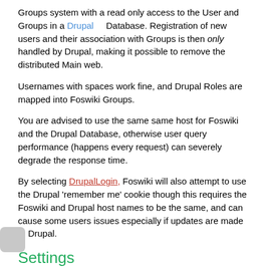Groups system with a read only access to the User and Groups in a Drupal Database. Registration of new users and their association with Groups is then only handled by Drupal, making it possible to remove the distributed Main web.
Usernames with spaces work fine, and Drupal Roles are mapped into Foswiki Groups.
You are advised to use the same same host for Foswiki and the Drupal Database, otherwise user query performance (happens every request) can severely degrade the response time.
By selecting DrupalLogin, Foswiki will also attempt to use the Drupal 'remember me' cookie though this requires the Foswiki and Drupal host names to be the same, and can cause some users issues especially if updates are made to Drupal.
Settings
To use DrupalUsersMapping, you need to set the following settings in the 'Security setup' in configure...